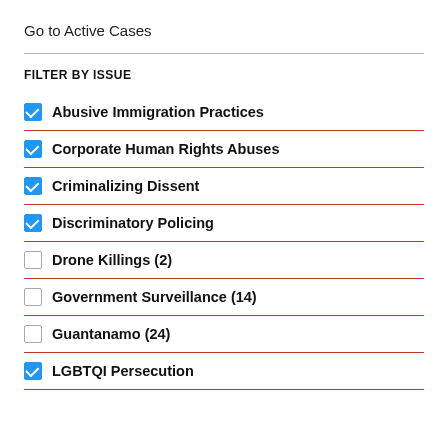Go to Active Cases
FILTER BY ISSUE
Abusive Immigration Practices
Corporate Human Rights Abuses
Criminalizing Dissent
Discriminatory Policing
Drone Killings (2)
Government Surveillance (14)
Guantanamo (24)
LGBTQI Persecution